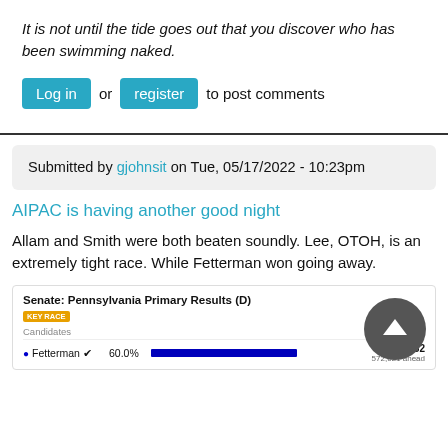It is not until the tide goes out that you discover who has been swimming naked.
Log in or register to post comments
Submitted by gjohnsit on Tue, 05/17/2022 - 10:23pm
AIPAC is having another good night
Allam and Smith were both beaten soundly. Lee, OTOH, is an extremely tight race. While Fetterman won going away.
[Figure (screenshot): Senate: Pennsylvania Primary Results (D) table showing Fetterman at 60.0% with 595,752 votes]